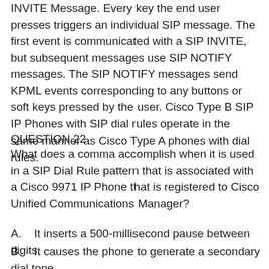INVITE Message. Every key the end user presses triggers an individual SIP message. The first event is communicated with a SIP INVITE, but subsequent messages use SIP NOTIFY messages. The SIP NOTIFY messages send KPML events corresponding to any buttons or soft keys pressed by the user. Cisco Type B SIP IP Phones with SIP dial rules operate in the same manner as Cisco Type A phones with dial rules.
QUESTION 22
What does a comma accomplish when it is used in a SIP Dial Rule pattern that is associated with a Cisco 9971 IP Phone that is registered to Cisco Unified Communications Manager?
A.    It inserts a 500-millisecond pause between digits.
B.    It causes the phone to generate a secondary dial tone.